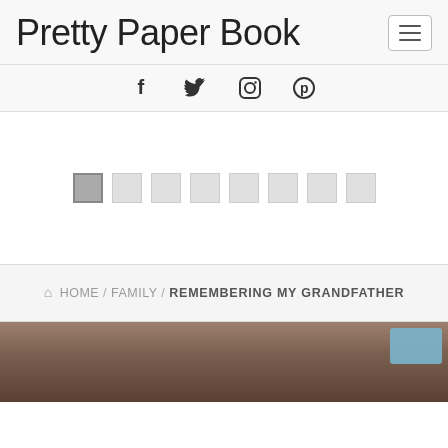Pretty Paper Book
[Figure (infographic): Social media icons: Facebook (f), Twitter (bird), Instagram (camera), Pinterest (P circle)]
[Figure (infographic): Pagination/slider indicator squares: 8 squares in a row, first one darker (active), rest light gray]
HOME / FAMILY / REMEMBERING MY GRANDFATHER
[Figure (photo): Partial photo of a person's head/hair at the bottom of the page, with a blue button overlay in the top-right corner]